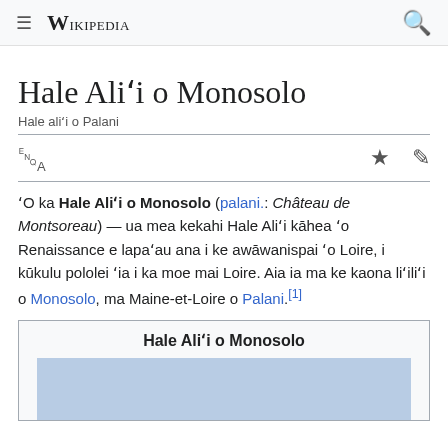Wikipedia
Hale Aliʻi o Monosolo
Hale aliʻi o Palani
'O ka Hale Aliʻi o Monosolo (palani.: Château de Montsoreau) — ua mea kekahi Hale Aliʻi kāhea ʻo Renaissance e lapaʻau ana i ke awāwanispai ʻo Loire, i kūkulu pololei ʻia i ka moe mai Loire. Aia ia ma ke kaona liʻiliʻi o Monosolo, ma Maine-et-Loire o Palani.[1]
| Hale Aliʻi o Monosolo |
| --- |